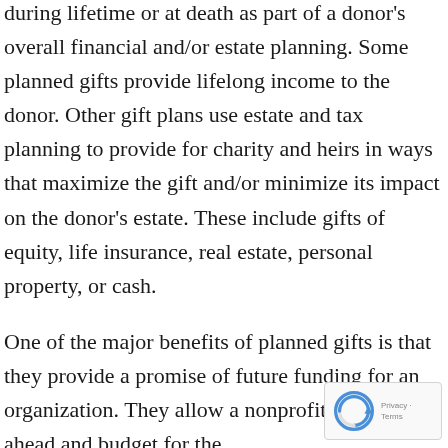during lifetime or at death as part of a donor's overall financial and/or estate planning. Some planned gifts provide lifelong income to the donor. Other gift plans use estate and tax planning to provide for charity and heirs in ways that maximize the gift and/or minimize its impact on the donor's estate. These include gifts of equity, life insurance, real estate, personal property, or cash.
One of the major benefits of planned gifts is that they provide a promise of future funding for an organization. They allow a nonprofit to plan ahead and budget for the future, including for expansion since. For